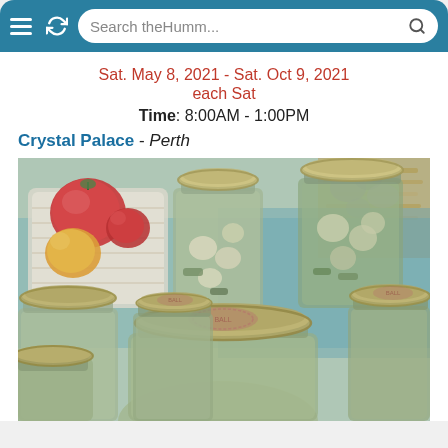Search theHumm...
Sat. May 8, 2021 - Sat. Oct 9, 2021
each Sat
Time: 8:00AM - 1:00PM
Crystal Palace - Perth
[Figure (photo): Close-up photo of multiple mason jars with silver lids containing pickled vegetables, with a basket of tomatoes and other produce visible in the background at what appears to be a farmers market.]